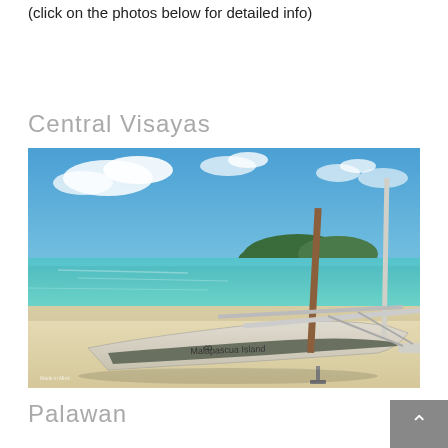(click on the photos below for detailed info)
Central Visayas
[Figure (photo): A traditional Filipino outrigger boat (banca) named 'Malapascua Island' resting on a white sandy beach with turquoise waters and blue sky in the background. Located in Central Visayas, Philippines.]
Palawan